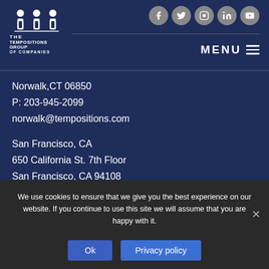[Figure (logo): The TemPositions Group of Companies logo with three figure icons at top and company name below]
[Figure (infographic): Social media icons: Facebook, Twitter, Instagram, LinkedIn, YouTube in gray circles]
MENU ≡
Norwalk,CT 06850
P: 203-945-2099
norwalk@tempositions.com
San Francisco, CA
650 California St. 7th Floor
San Francisco, CA 94108
P: 415-392-5856
We use cookies to ensure that we give you the best experience on our website. If you continue to use this site we will assume that you are happy with it.
Ok
Privacy policy